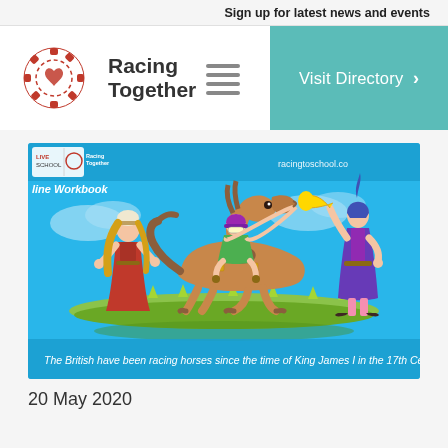Sign up for latest news and events
[Figure (logo): Racing Together logo with circular red icon and hamburger menu lines]
[Figure (illustration): Illustration from racingtoschool.co online workbook showing a medieval lady, a jockey on a galloping horse, and a medieval herald blowing a trumpet, with caption: The British have been racing horses since the time of King James I in the 17th Century]
20 May 2020